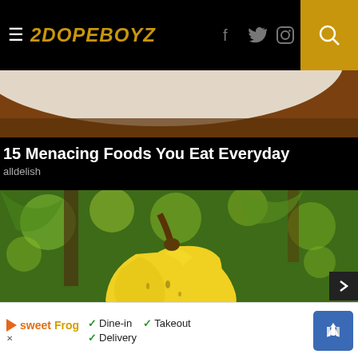2DOPEBOYZ
[Figure (photo): Partial view of a white plate and wooden surface — hero image top]
15 Menacing Foods You Eat Everyday
alldelish
[Figure (photo): Hand holding a bunch of yellow bananas with green leafy trees in background]
[Figure (infographic): Advertisement banner: SweetFrog restaurant ad showing checkmarks for Dine-in, Takeout, Delivery with a map navigation icon]